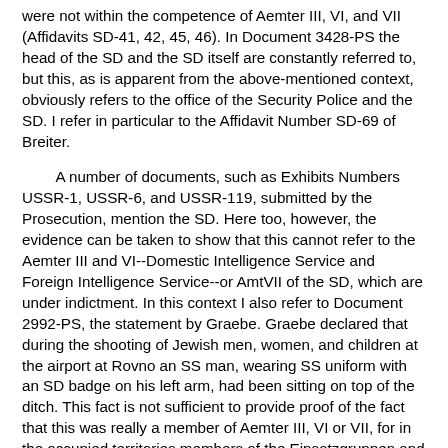were not within the competence of Aemter III, VI, and VII (Affidavits SD-41, 42, 45, 46). In Document 3428-PS the head of the SD and the SD itself are constantly referred to, but this, as is apparent from the above-mentioned context, obviously refers to the office of the Security Police and the SD. I refer in particular to the Affidavit Number SD-69 of Breiter.
A number of documents, such as Exhibits Numbers USSR-1, USSR-6, and USSR-119, submitted by the Prosecution, mention the SD. Here too, however, the evidence can be taken to show that this cannot refer to the Aemter III and VI--Domestic Intelligence Service and Foreign Intelligence Service--or AmtVII of the SD, which are under indictment. In this context I also refer to Document 2992-PS, the statement by Graebe. Graebe declared that during the shooting of Jewish men, women, and children at the airport at Rovno an SS man, wearing SS uniform with an SD badge on his left arm, had been sitting on top of the ditch. This fact is not sufficient to provide proof of the fact that this was really a member of Aemter III, VI or VII, for in the occupied territories members of the Einsatzgruppen and the units under the commander of the Security Police and the SD, in particular the officials of the Gestapo and the Criminal Police, all used to wear the same uniform with an SD badge. This was the uniform of the SS special formation SD, not the uniform of Aemter III and VI. The SS Sturmbannfuehrer Puetz, mentioned in Graebe's report, was not a member of the SD, but a Government Counsellor and an official of the Gestapo. For this I also refer to